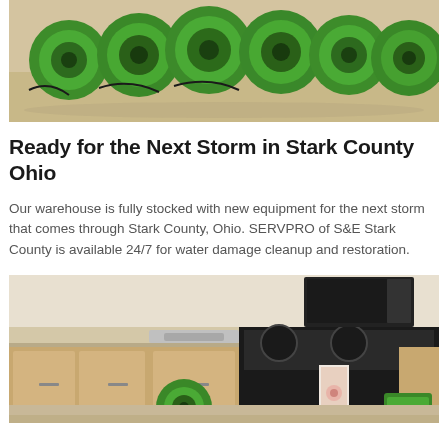[Figure (photo): Multiple green industrial air mover fans/blowers stacked in a warehouse on a light-colored floor]
Ready for the Next Storm in Stark County Ohio
Our warehouse is fully stocked with new equipment for the next storm that comes through Stark County, Ohio. SERVPRO of S&E Stark County is available 24/7 for water damage cleanup and restoration.
[Figure (photo): Kitchen interior showing water damage with green SERVPRO air mover equipment placed under cabinets near stove and counter area]